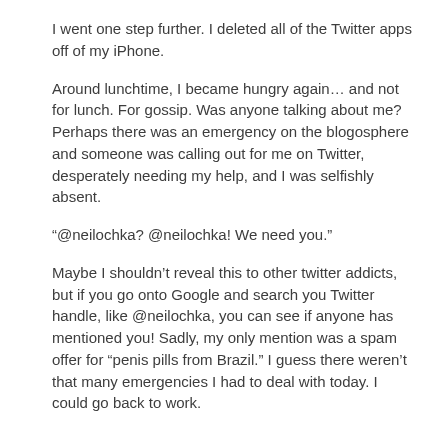I went one step further. I deleted all of the Twitter apps off of my iPhone.
Around lunchtime, I became hungry again… and not for lunch. For gossip. Was anyone talking about me? Perhaps there was an emergency on the blogosphere and someone was calling out for me on Twitter, desperately needing my help, and I was selfishly absent.
“@neilochka? @neilochka! We need you.”
Maybe I shouldn’t reveal this to other twitter addicts, but if you go onto Google and search you Twitter handle, like @neilochka, you can see if anyone has mentioned you! Sadly, my only mention was a spam offer for “penis pills from Brazil.” I guess there weren’t that many emergencies I had to deal with today. I could go back to work.